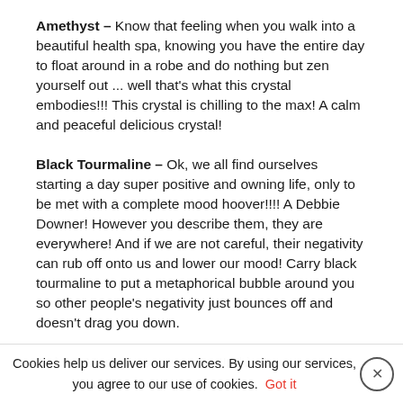Amethyst – Know that feeling when you walk into a beautiful health spa, knowing you have the entire day to float around in a robe and do nothing but zen yourself out ... well that's what this crystal embodies!!! This crystal is chilling to the max! A calm and peaceful delicious crystal!
Black Tourmaline – Ok, we all find ourselves starting a day super positive and owning life, only to be met with a complete mood hoover!!!! A Debbie Downer! However you describe them, they are everywhere! And if we are not careful, their negativity can rub off onto us and lower our mood! Carry black tourmaline to put a metaphorical bubble around you so other people's negativity just bounces off and doesn't drag you down.
citrine - Money money money!! This is your
Cookies help us deliver our services. By using our services, you agree to our use of cookies. Got it